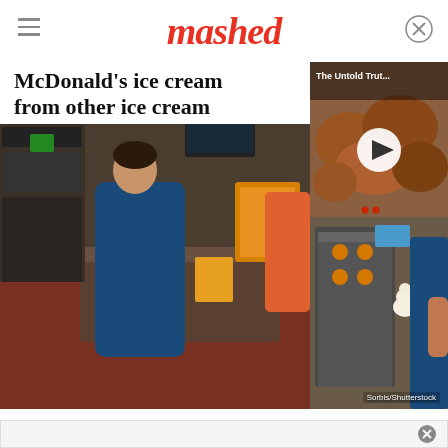mashed
McDonald's ice cream...from other ice cream
[Figure (photo): McDonald's kitchen interior with worker in blue uniform preparing food at counter, commercial kitchen equipment visible]
[Figure (screenshot): Video overlay showing 'The Untold Trut...' with play button over image of fried chicken pieces]
[Figure (photo): McDonald's soft serve ice cream machine with worker, Sorbis/Shutterstock credit]
Sorbis/Shutterstock
[Figure (other): Advertisement area with close button]